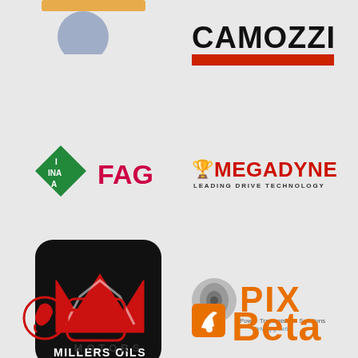[Figure (logo): Partial logo at top-left, partially cropped, with blue circle shape]
[Figure (logo): CAMOZZI logo in bold black text with red bar below]
[Figure (logo): INA (green diamond) and FAG (pink/red text) combined logo]
[Figure (logo): MEGADYNE logo with red text and tagline LEADING DRIVE TECHNOLOGY]
[Figure (logo): Millers Oils logo with black rounded square, red M symbol and white MILLERS OILS text]
[Figure (logo): PIX Power Transmission Solutions logo with orange PIX text and belt/pulley graphic]
[Figure (logo): TEC Motors logo with horse head in circle and TEC in red rounded rectangle, MOTORS text below]
[Figure (logo): Beta tools logo with wrench icon and orange Beta text]